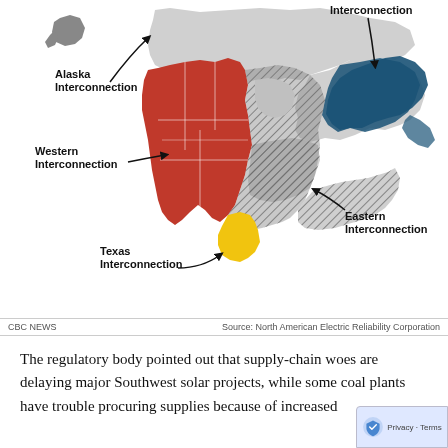[Figure (map): Map of North America showing four electricity interconnections: Alaska Interconnection (gray, top left), Western Interconnection (red, western US/Canada), Texas Interconnection (yellow, Texas), Eastern Interconnection (dark hatched, eastern US/Canada), and a Quebec/eastern Canada blue region. Labels with arrows point to each region.]
CBC NEWS    Source: North American Electric Reliability Corporation
The regulatory body pointed out that supply-chain woes are delaying major Southwest solar projects, while some coal plants have trouble procuring supplies because of increased